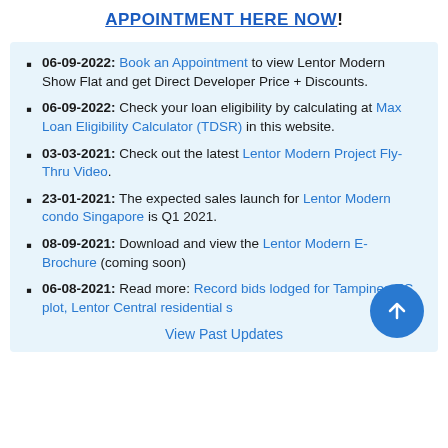APPOINTMENT HERE NOW!
06-09-2022: Book an Appointment to view Lentor Modern Show Flat and get Direct Developer Price + Discounts.
06-09-2022: Check your loan eligibility by calculating at Max Loan Eligibility Calculator (TDSR) in this website.
03-03-2021: Check out the latest Lentor Modern Project Fly-Thru Video.
23-01-2021: The expected sales launch for Lentor Modern condo Singapore is Q1 2021.
08-09-2021: Download and view the Lentor Modern E-Brochure (coming soon)
06-08-2021: Read more: Record bids lodged for Tampines EC plot, Lentor Central residential s
View Past Updates